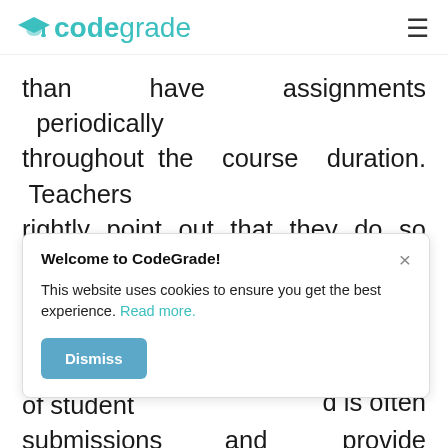codegrade
than have assignments periodically throughout the course duration. Teachers rightly point out that they do so primarily because they simply lack resources and time to examine a large number of student submissions and provide feedback
[Figure (screenshot): Cookie consent popup with title 'Welcome to CodeGrade!', body text 'This website uses cookies to ensure you get the best experience. Read more.', a close (×) button, and a 'Dismiss' button.]
formative not help d is often